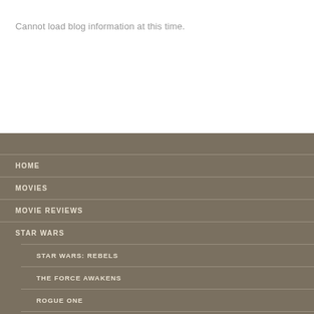Cannot load blog information at this time.
HOME
MOVIES
MOVIE REVIEWS
STAR WARS
STAR WARS: REBELS
THE FORCE AWAKENS
ROGUE ONE
THE LAST JEDI